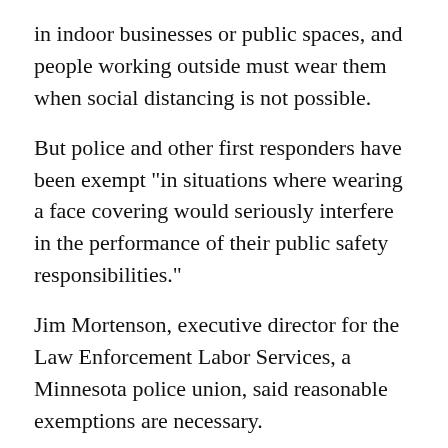in indoor businesses or public spaces, and people working outside must wear them when social distancing is not possible.
But police and other first responders have been exempt "in situations where wearing a face covering would seriously interfere in the performance of their public safety responsibilities."
Jim Mortenson, executive director for the Law Enforcement Labor Services, a Minnesota police union, said reasonable exemptions are necessary.
"If you come across somebody and someone starts firing a weapon on your vehicle as you're coming up on a scene, the last thing you are going to think about is putting a mask on," Mortensen said.